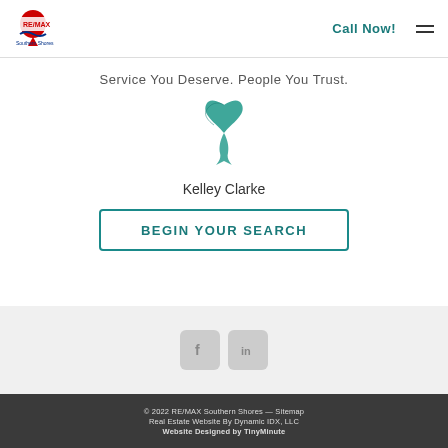RE/MAX | Call Now!
Service You Deserve. People You Trust.
[Figure (illustration): Teal awareness ribbon icon]
Kelley Clarke
BEGIN YOUR SEARCH
[Figure (logo): Facebook and LinkedIn social media icons]
© 2022 RE/MAX Southern Shores — Sitemap
Real Estate Website By Dynamic IDX, LLC
Website Designed by TinyMinute